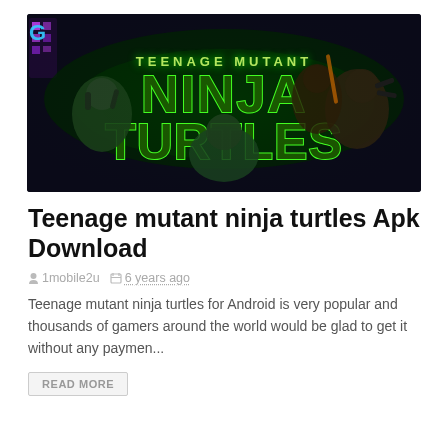[Figure (illustration): Teenage Mutant Ninja Turtles promotional artwork with four turtle characters in action poses against a dark background with green neon text reading 'TEENAGE MUTANT NINJA TURTLES']
Teenage mutant ninja turtles Apk Download
1mobile2u   6 years ago
Teenage mutant ninja turtles for Android is very popular and thousands of gamers around the world would be glad to get it without any paymen...
READ MORE